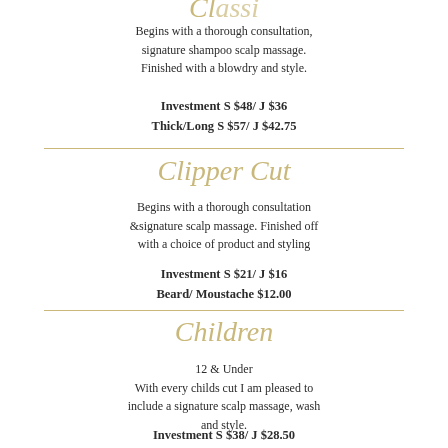Begins with a thorough consultation, signature shampoo scalp massage. Finished with a blowdry and style.
Investment S $48/ J $36
Thick/Long S $57/ J $42.75
Clipper Cut
Begins with a thorough consultation &signature scalp massage. Finished off with a choice of product and styling
Investment S $21/ J $16
Beard/ Moustache $12.00
Children
12 & Under
With every childs cut I am pleased to include a signature scalp massage, wash and style.
Investment S $38/ J $28.50